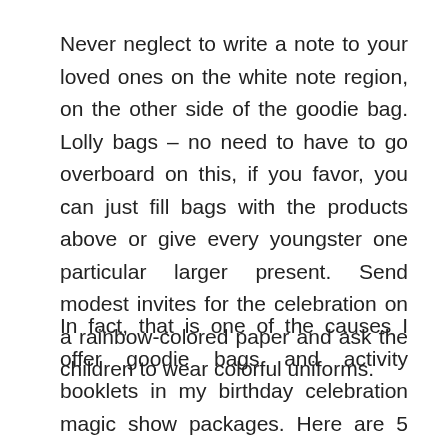Never neglect to write a note to your loved ones on the white note region, on the other side of the goodie bag. Lolly bags – no need to have to go overboard on this, if you favor, you can just fill bags with the products above or give every youngster one particular larger present. Send modest invites for the celebration on a rainbow-colored paper and ask the children to wear colorful uniforms.
In fact, that is one of the causes I offer goodie bags and activity booklets in my birthday celebration magic show packages. Here are 5 price range-friendly craft concepts that use